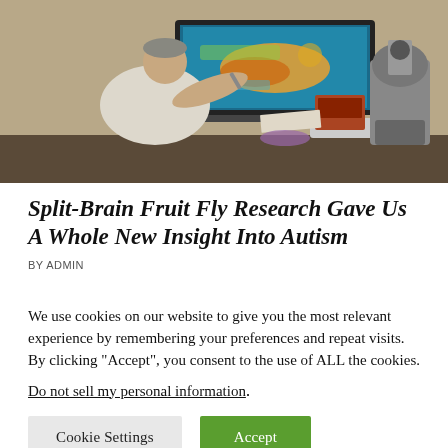[Figure (photo): Researcher sitting at a desk pointing at a large monitor displaying colorful microscopy or imaging data, with a microscope visible on the right side of the desk in a laboratory setting.]
Split-Brain Fruit Fly Research Gave Us A Whole New Insight Into Autism
BY ADMIN
We use cookies on our website to give you the most relevant experience by remembering your preferences and repeat visits. By clicking “Accept”, you consent to the use of ALL the cookies.
Do not sell my personal information.